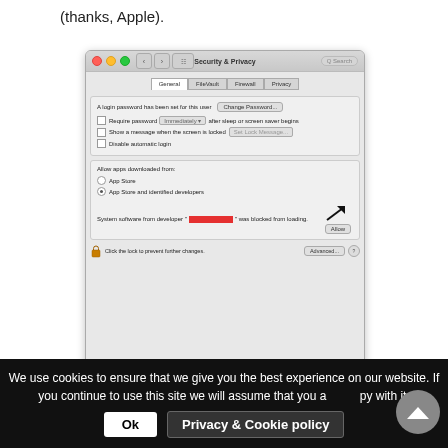(thanks, Apple).
[Figure (screenshot): macOS Security & Privacy system preferences window showing General tab with login password settings, firewall/filevault/privacy tabs, 'Allow apps downloaded from' section with App Store and identified developers options selected, and a system software blocked notification with Allow button and red-highlighted developer name.]
We use cookies to ensure that we give you the best experience on our website. If you continue to use this site we will assume that you are happy with it.
Ok
Privacy & Cookie policy